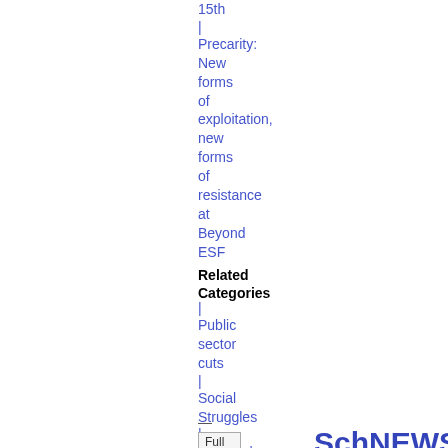15th | Precarity: New forms of exploitation, new forms of resistance at Beyond ESF
Related Categories
| Public sector cuts | Social Struggles | Workers' Movements
—
SchNEWS